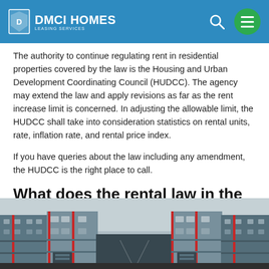DMCI HOMES LEASING SERVICES
The authority to continue regulating rent in residential properties covered by the law is the Housing and Urban Development Coordinating Council (HUDCC). The agency may extend the law and apply revisions as far as the rent increase limit is concerned. In adjusting the allowable limit, the HUDCC shall take into consideration statistics on rental units, rate, inflation rate, and rental price index.
If you have queries about the law including any amendment, the HUDCC is the right place to call.
What does the rental law in the Philippines say about rent increases?
[Figure (photo): A row of modern townhouse buildings with grey and beige facades, red vertical accent lines, and windows, viewed from street level against an overcast sky.]